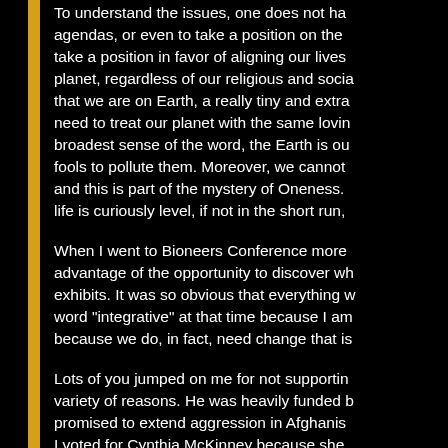To understand the issues, one does not have to subscribe to hidden agendas, or even to take a position on the issues. One does need to take a position in favor of aligning our lives with the survival of the planet, regardless of our religious and social backgrounds. The fact that we are on Earth, a really tiny and extraordinary place, means we need to treat our planet with the same loving care we would — in the broadest sense of the word, the Earth is our home, and only fools to pollute them. Moreover, we cannot hide from each other, and this is part of the mystery of Oneness. The playing field of life is curiously level, if not in the short run,
When I went to Bioneers Conference more I took advantage of the opportunity to discover what was in the exhibits. It was so obvious that everything was integrative. I used the word "integrative" at that time because I am very fond of it, because we do, in fact, need change that is
Lots of you jumped on me for not supporting for a variety of reasons. He was heavily funded b promised to extend aggression in Afghanist I voted for Cynthia McKinney because she